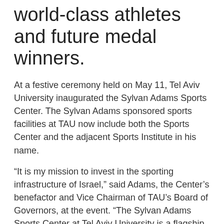world-class athletes and future medal winners.
At a festive ceremony held on May 11, Tel Aviv University inaugurated the Sylvan Adams Sports Center. The Sylvan Adams sponsored sports facilities at TAU now include both the Sports Center and the adjacent Sports Institute in his name.
“It is my mission to invest in the sporting infrastructure of Israel,” said Adams, the Center’s benefactor and Vice Chairman of TAU’s Board of Governors, at the event. “The Sylvan Adams Sports Center at Tel Aviv University is a flagship project which will nurture world-class athletes and future medal winners.”
Adams is also a TAU Honorary Doctor and Global Ambassador to name a few. The investments and